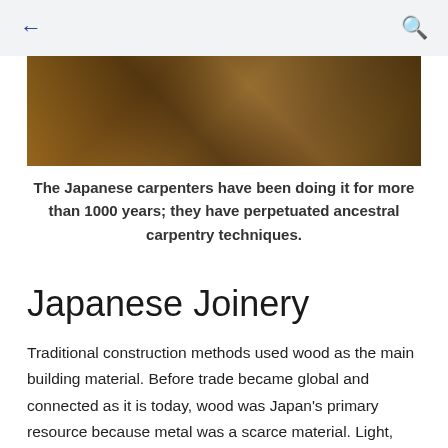← (back) and search icon
[Figure (photo): Overhead view of Japanese woodworking tools including chisels and planes laid on a dark wooden surface]
The Japanese carpenters have been doing it for more than 1000 years; they have perpetuated ancestral carpentry techniques.
Japanese Joinery
Traditional construction methods used wood as the main building material. Before trade became global and connected as it is today, wood was Japan's primary resource because metal was a scarce material. Light, wood was incorporated into carpenters' techniques early on rather than brick or stone. The elect to the use of one from for the